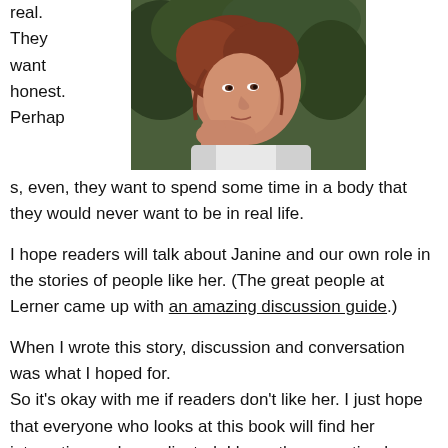real. They want honest. Perhaps, even, they want to spend some time in a body that they would never want to be in real life.
[Figure (photo): Photo of a woman with reddish-brown hair resting her chin on her hand, outdoors with green foliage background, wearing a white and grey top.]
I hope readers will talk about Janine and our own role in the stories of people like her. (The great people at Lerner came up with an amazing discussion guide.)
When I wrote this story, discussion and conversation was what I hoped for.
So it's okay with me if readers don't like her. I just hope that everyone who looks at this book will find her interesting and complicated. I hope they question her actions—and the trends in our world.